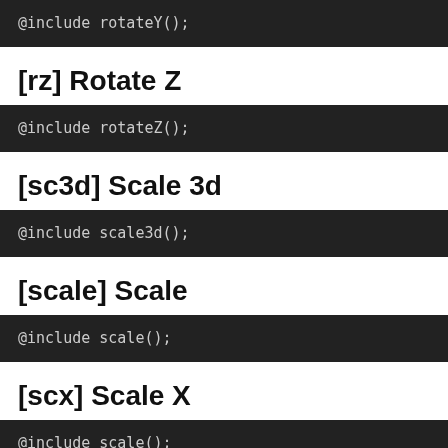@include rotateY();
[rz] Rotate Z
@include rotateZ();
[sc3d] Scale 3d
@include scale3d();
[scale] Scale
@include scale();
[scx] Scale X
@include scale();